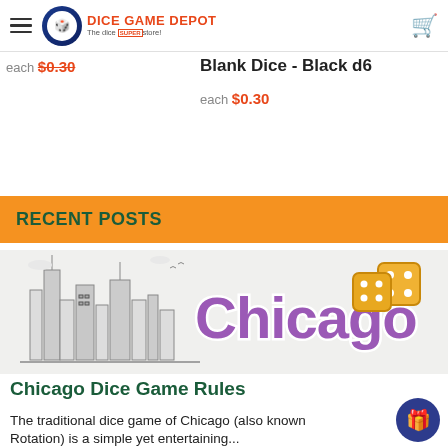Dice Game Depot — The dice SUPERstore!
each $0.30
Blank Dice - Black d6
each $0.30
RECENT POSTS
[Figure (illustration): Chicago city skyline illustration with purple 'Chicago' text overlay and golden dice graphic]
Chicago Dice Game Rules
The traditional dice game of Chicago (also known as Rotation) is a simple yet entertaining...